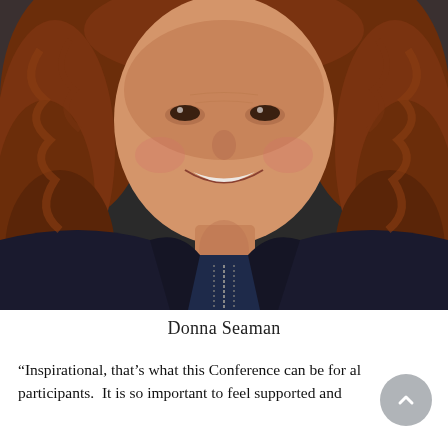[Figure (photo): Portrait photograph of a woman with curly auburn/red hair, smiling broadly, wearing a dark navy/black zip-up jacket over a navy top. The photo is a close-up headshot showing her face and upper torso.]
Donna Seaman
“Inspirational, that’s what this Conference can be for all participants. It is so important to feel supported and